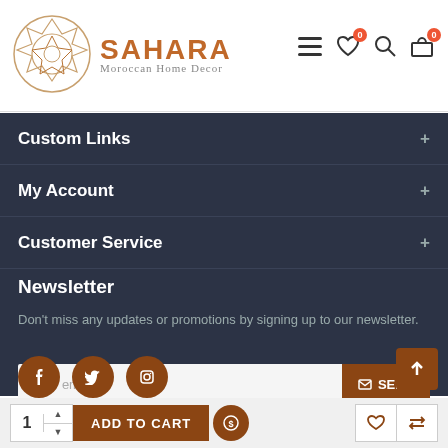[Figure (logo): Sahara Moroccan Home Decor logo with geometric mandala pattern and text]
Custom Links
My Account
Customer Service
Newsletter
Don't miss any updates or promotions by signing up to our newsletter.
Your email
SEND
I have read and agree to the Privacy Policy